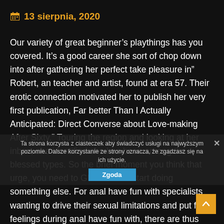13 sierpnia, 2020
Our variety of great beginner’s playthings has you covered. It’s a good career she sort of chop down into after gathering her perfect take pleasure in” Robert, an teacher and artist, found at era 57. Their erotic connection motivated her to publish her very first publication, Far better Than I Actually Anticipated: Direct Converse about Love-making After Sixty.” Touring the region and looking at her inbox, she identified she has been among the blessed types. So the brief moment you think that urge, you need to GET UP and start doing something else. For anal have fun with specialists wanting to drive their sexual limitations and put fresh feelings during anal have fun with, there are thus numerous excellent choices for stimulating, teasing and penetrating the anal area for sexual
Ta strona korzysta z ciasteczek aby świadczyć usługi na najwyższym poziomie. Dalsze korzystanie ze strony oznacza, że zgadzasz się na ich użycie.